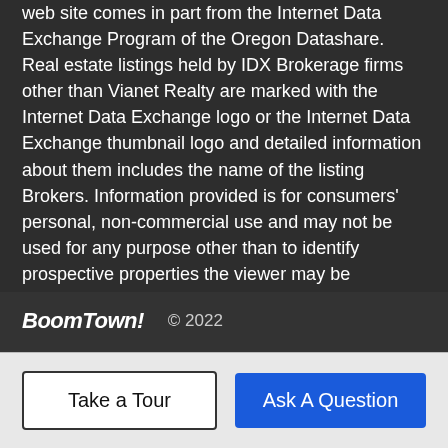web site comes in part from the Internet Data Exchange Program of the Oregon Datashare. Real estate listings held by IDX Brokerage firms other than Vianet Realty are marked with the Internet Data Exchange logo or the Internet Data Exchange thumbnail logo and detailed information about them includes the name of the listing Brokers. Information provided is for consumers' personal, non-commercial use and may not be used for any purpose other than to identify prospective properties the viewer may be interested in purchasing. The consumer will not copy, retransmit nor redistribute any of the content from this website. Information provided is deemed reliable, but not guaranteed. Listing courtesy of Vianet Realty. Data last updated: .2022-09-01T14:53:23.293
BoomTown! © 2022 | Terms of Use | Privacy Policy | Accessibility | DMCA | Listings Sitemap
Take a Tour
Ask A Question